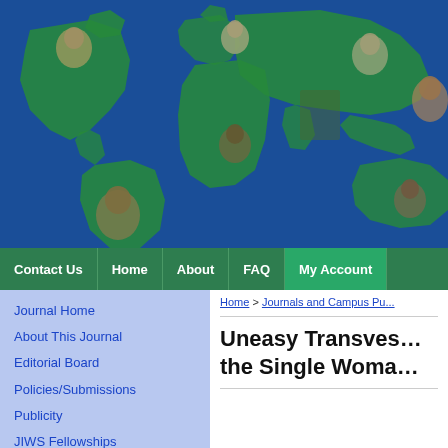[Figure (illustration): Website header banner showing a world map on a blue background with photographic images of diverse people from different regions overlaid on the continents]
Contact Us | Home | About | FAQ | My Account
Journal Home
About This Journal
Editorial Board
Policies/Submissions
Publicity
JIWS Fellowships
Home > Journals and Campus Pu...
Uneasy Transves... the Single Woma...